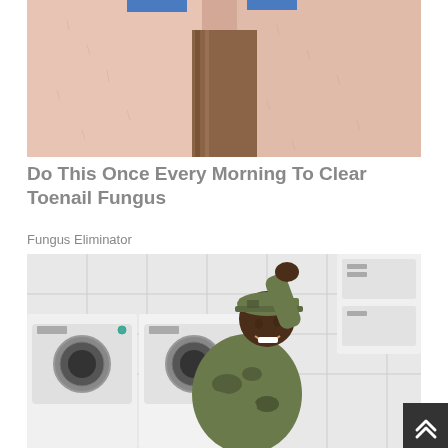[Figure (photo): Close-up photo of human legs/thighs showing skin texture, with a blue element visible at the top]
Do This Once Every Morning To Clear Toenail Fungus
Fungus Eliminator
[Figure (photo): A person in military camouflage uniform and cap posing near commercial washing machines in a laundromat, leaning against the machines in a playful pose]